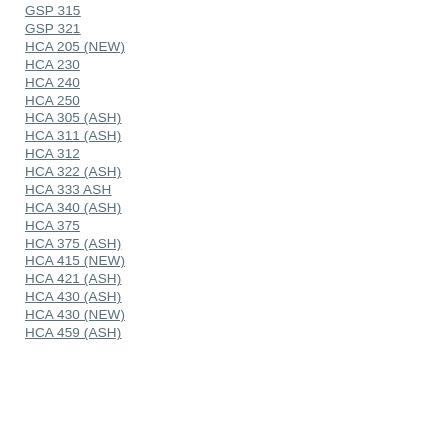GSP 315
GSP 321
HCA 205 (NEW)
HCA 230
HCA 240
HCA 250
HCA 305 (ASH)
HCA 311 (ASH)
HCA 312
HCA 322 (ASH)
HCA 333 ASH
HCA 340 (ASH)
HCA 375
HCA 375 (ASH)
HCA 415 (NEW)
HCA 421 (ASH)
HCA 430 (ASH)
HCA 430 (NEW)
HCA 459 (ASH)